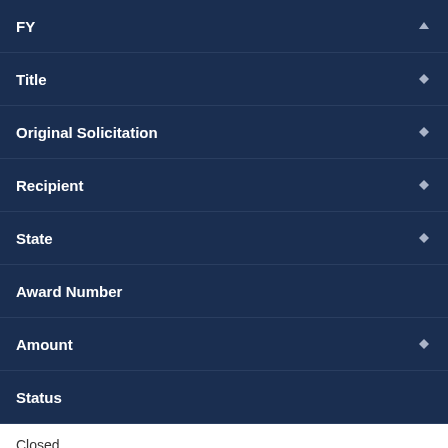| FY | Title | Original Solicitation | Recipient | State | Award Number | Amount | Status |
| --- | --- | --- | --- | --- | --- | --- | --- |
| (sortable) | (sortable) | (sortable) | (sortable) | (sortable) | (no sort) | (sortable) | Closed |
Closed
Rate This Page
Top
FY 2005 Title II Part B Formula Grant Program